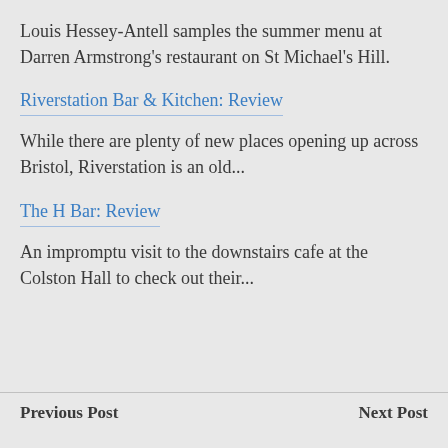Louis Hessey-Antell samples the summer menu at Darren Armstrong's restaurant on St Michael's Hill.
Riverstation Bar & Kitchen: Review
While there are plenty of new places opening up across Bristol, Riverstation is an old...
The H Bar: Review
An impromptu visit to the downstairs cafe at the Colston Hall to check out their...
Previous Post   Next Post